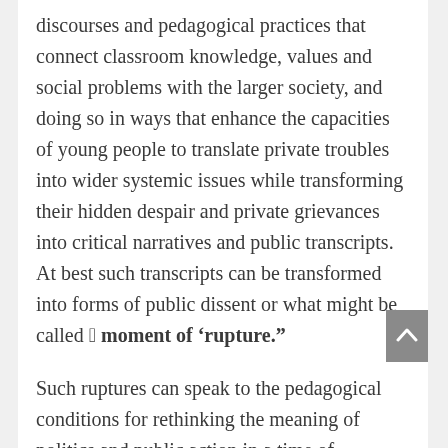discourses and pedagogical practices that connect classroom knowledge, values and social problems with the larger society, and doing so in ways that enhance the capacities of young people to translate private troubles into wider systemic issues while transforming their hidden despair and private grievances into critical narratives and public transcripts. At best such transcripts can be transformed into forms of public dissent or what might be called “a moment of ‘rupture.”

Such ruptures can speak to the pedagogical conditions for rethinking the meaning of politics and public action in a time of impending tyranny and authoritarianism. In taking up this project, educators and others should attempt to create the conditions that give students the